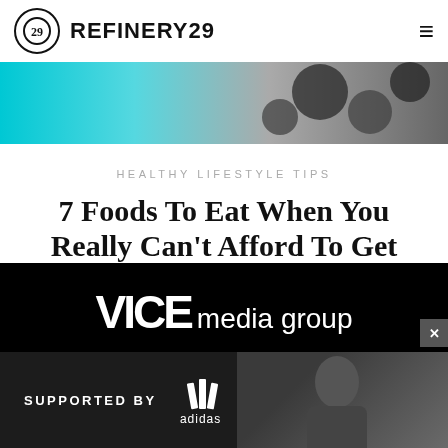REFINERY29
[Figure (photo): Hero image strip showing blueberries or dark berries on a cyan/teal background]
HEALTHY LIFESTYLE TIPS
7 Foods To Eat When You Really Can't Afford To Get Sick
ELIZABETH GULINO   FEBRUARY 19, 2020  11:40 PM
[Figure (logo): VICE media group logo in white on black background]
[Figure (infographic): Adidas advertisement: SUPPORTED BY adidas logo with person photo]